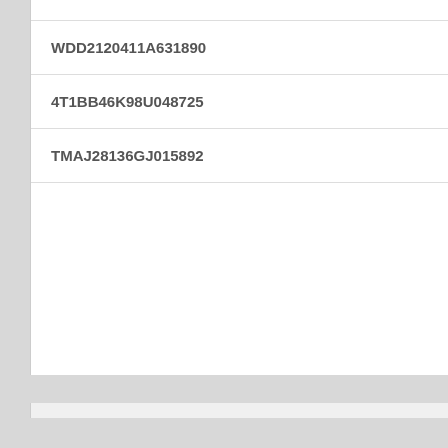| WDD2120411A631890 |
| 4T1BB46K98U048725 |
| TMAJ28136GJ015892 |
Rating